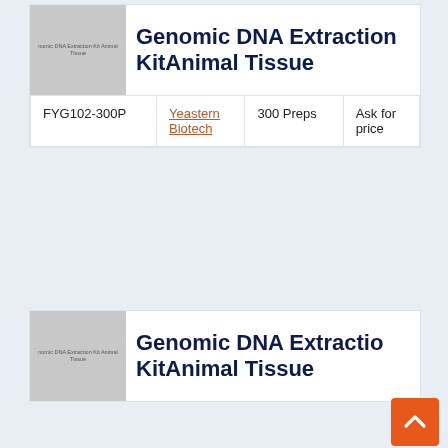[Figure (photo): Product image placeholder for Genomic DNA Extraction Kit Animal Tissue (first card), grey rectangle with text label]
Genomic DNA Extraction KitAnimal Tissue
| FYG102-300P | Yeastern Biotech | 300 Preps | Ask for price |
[Figure (photo): Product image placeholder for Genomic DNA Extraction Kit Animal Tissue (second card), grey rectangle with text label]
Genomic DNA Extraction KitAnimal Tissue